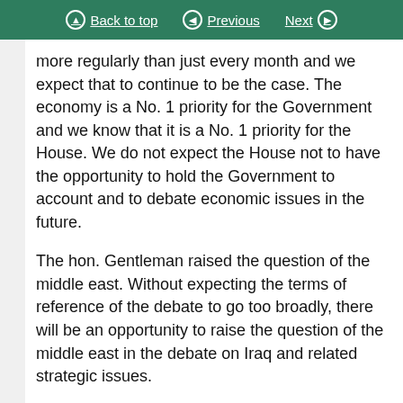Back to top | Previous | Next
more regularly than just every month and we expect that to continue to be the case. The economy is a No. 1 priority for the Government and we know that it is a No. 1 priority for the House. We do not expect the House not to have the opportunity to hold the Government to account and to debate economic issues in the future.
The hon. Gentleman raised the question of the middle east. Without expecting the terms of reference of the debate to go too broadly, there will be an opportunity to raise the question of the middle east in the debate on Iraq and related strategic issues.
The hon. Gentleman also mentioned job losses and